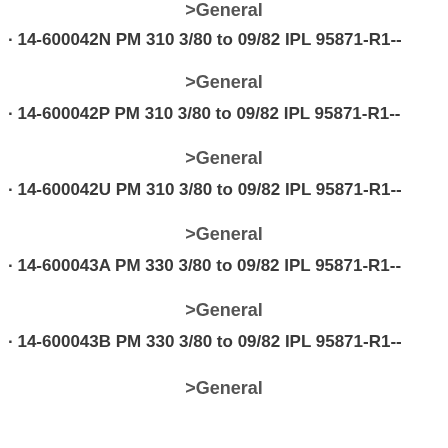>General
· 14-600042N PM 310 3/80 to 09/82 IPL 95871-R1-->General
· 14-600042P PM 310 3/80 to 09/82 IPL 95871-R1-->General
· 14-600042U PM 310 3/80 to 09/82 IPL 95871-R1-->General
· 14-600043A PM 330 3/80 to 09/82 IPL 95871-R1-->General
· 14-600043B PM 330 3/80 to 09/82 IPL 95871-R1-->General
>General